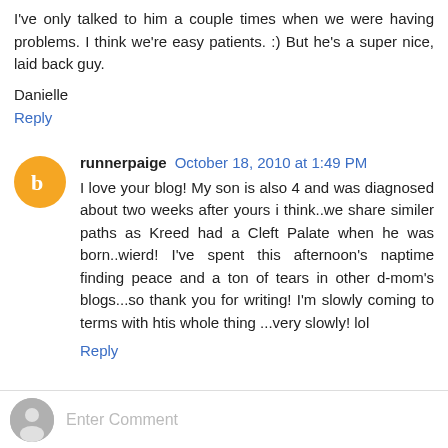I've only talked to him a couple times when we were having problems. I think we're easy patients. :) But he's a super nice, laid back guy.
Danielle
Reply
runnerpaige October 18, 2010 at 1:49 PM
I love your blog! My son is also 4 and was diagnosed about two weeks after yours i think..we share similer paths as Kreed had a Cleft Palate when he was born..wierd! I've spent this afternoon's naptime finding peace and a ton of tears in other d-mom's blogs...so thank you for writing! I'm slowly coming to terms with htis whole thing ...very slowly! lol
Reply